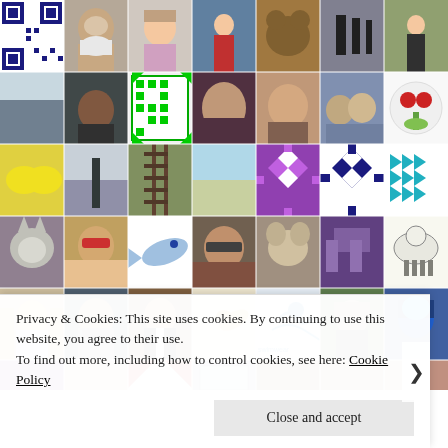[Figure (photo): Grid of user avatar thumbnails arranged in rows and columns, showing profile photos, illustrations, and pattern icons]
Privacy & Cookies: This site uses cookies. By continuing to use this website, you agree to their use.
To find out more, including how to control cookies, see here: Cookie Policy
Close and accept